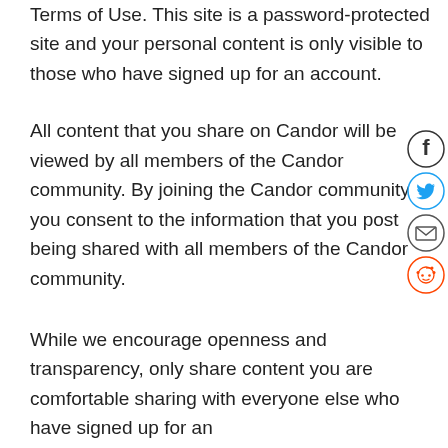Terms of Use. This site is a password-protected site and your personal content is only visible to those who have signed up for an account.
[Figure (other): Social sharing icons: Facebook, Twitter, Email, Reddit arranged vertically on the right side]
All content that you share on Candor will be viewed by all members of the Candor community. By joining the Candor community, you consent to the information that you post being shared with all members of the Candor community.
While we encourage openness and transparency, only share content you are comfortable sharing with everyone else who have signed up for an